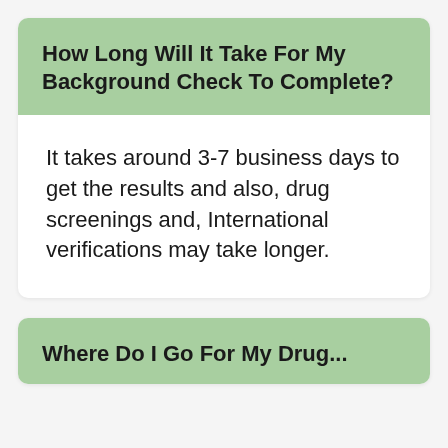How Long Will It Take For My Background Check To Complete?
It takes around 3-7 business days to get the results and also, drug screenings and, International verifications may take longer.
Where Do I Go For My Drug...